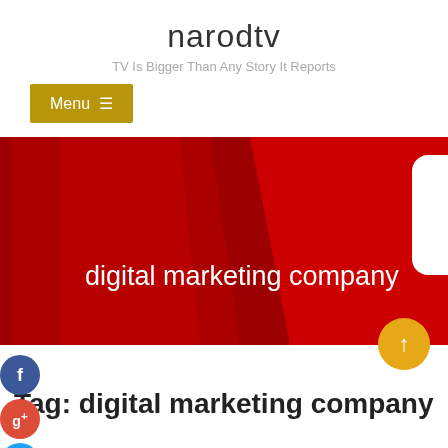narodtv
TV Is Bigger Than Any Story It Reports
Menu ☰
[Figure (screenshot): Red banner image with diagonal dark red shapes and the text 'digital marketing company' in white, with a white rounded rectangle shape on the right side.]
Tag: digital marketing company